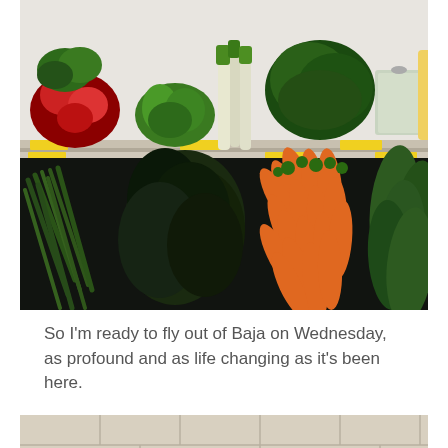[Figure (photo): Grocery store produce shelves showing fresh vegetables: radishes, green peppers, leeks/green onions, leafy greens, bagged vegetables, corn on top shelf; poblano/dark green peppers, serrano peppers, carrots, and zucchini/cucumbers on lower shelf. Yellow price tags visible on shelf edges.]
So I'm ready to fly out of Baja on Wednesday, as profound and as life changing as it's been here.
[Figure (photo): Bottom portion of a photo showing a light-colored tile floor and what appears to be a brown paper bag or cardboard box.]